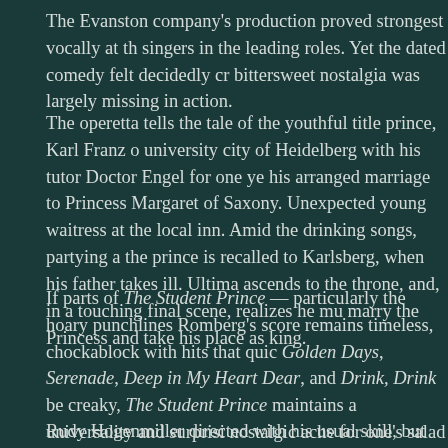The Evanston company's production proved strongest vocally at th singers in the leading roles. Yet the dated comedy felt decidedly cr bittersweet nostalgia was largely missing in action.
The operetta tells the tale of the youthful title prince, Karl Franz o university city of Heidelberg with his tutor Doctor Engel for one ye his arranged marriage to Princess Margaret of Saxony. Unexpected young waitress at the local inn. Amid the drinking songs, partying the prince is recalled to Karlsberg, when his father takes ill. Ultim ascends to the throne, and, in a touching final scene, realizes he mu marry the Princess and take his place as king.
If parts of The Student Prince — particularly the hoary punchlines Romberg's score remains timeless, chockablock with hits that quic Golden Days, Serenade, Deep in My Heart Dear, and Drink, Drink be creaky, The Student Prince maintains a universality and surprisi nostalgic ache for one's salad days and the lost romances of youth.
Rudy Hogenmiller directed with his usual skill, but overall thi